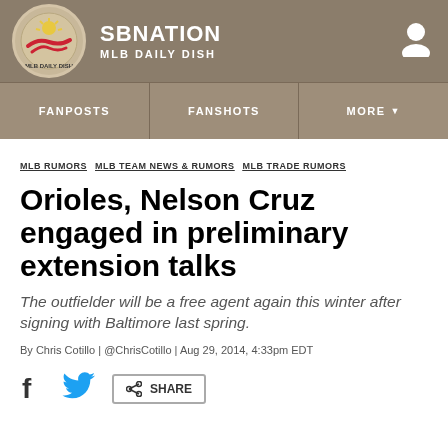[Figure (logo): SB Nation MLB Daily Dish logo with circular emblem and navigation bar]
SBNATION MLB DAILY DISH
FANPOSTS | FANSHOTS | MORE
MLB RUMORS  MLB TEAM NEWS & RUMORS  MLB TRADE RUMORS
Orioles, Nelson Cruz engaged in preliminary extension talks
The outfielder will be a free agent again this winter after signing with Baltimore last spring.
By Chris Cotillo | @ChrisCotillo | Aug 29, 2014, 4:33pm EDT